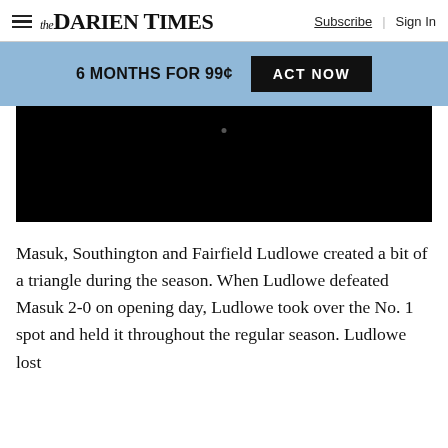The Darien Times — Subscribe | Sign In
6 MONTHS FOR 99¢ ACT NOW
[Figure (other): Black video/media embed placeholder block]
Masuk, Southington and Fairfield Ludlowe created a bit of a triangle during the season. When Ludlowe defeated Masuk 2-0 on opening day, Ludlowe took over the No. 1 spot and held it throughout the regular season. Ludlowe lost